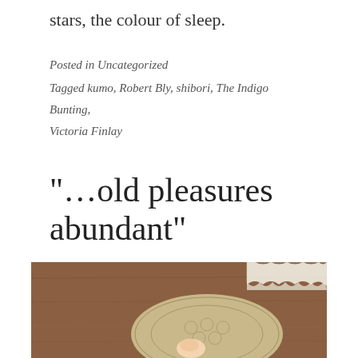stars, the colour of sleep.
Posted in Uncategorized
Tagged kumo, Robert Bly, shibori, The Indigo Bunting, Victoria Finlay
“…old pleasures abundant”
August 1, 2016
theresakishkan
Leave a comment
[Figure (photo): A photograph showing a circular lace or embroidered textile piece being held, with decorative lace trim visible at top right, on a wooden surface background.]